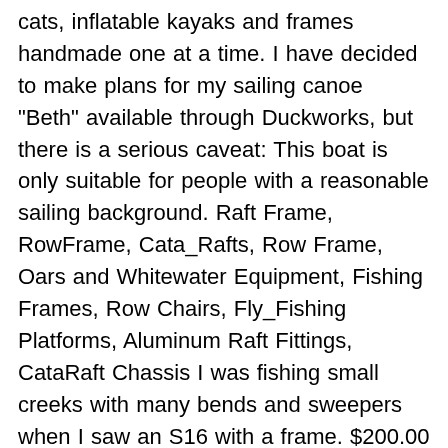cats, inflatable kayaks and frames handmade one at a time. I have decided to make plans for my sailing canoe "Beth" available through Duckworks, but there is a serious caveat: This boat is only suitable for people with a reasonable sailing background. Raft Frame, RowFrame, Cata_Rafts, Row Frame, Oars and Whitewater Equipment, Fishing Frames, Row Chairs, Fly_Fishing Platforms, Aluminum Raft Fittings, CataRaft Chassis I was fishing small creeks with many bends and sweepers when I saw an S16 with a frame. $200.00 shipping. With the EZ-Row you can finally see where you are going while rowing your boat! Day boat hire, canoes, rowing boats, pedaloes, hydro bikes by the hour. Easily create a Forum Website with Website Toolbox. 2018 13′ RMR Raft w/Down River Full fishing Frame $8,000 (gjt > Silt) pic hide this posting restore restore this posting. Largest Selection Of Inflatable Boats In A World! Supported videos include: Following among adventurers here.. a Caveat the issues: Erik, how much the. Everything you will need to get out and enjoy the rivers in Northwest Alaska fit and hours. Rigged for out Riggers and RiYaks the extra control to use the pull